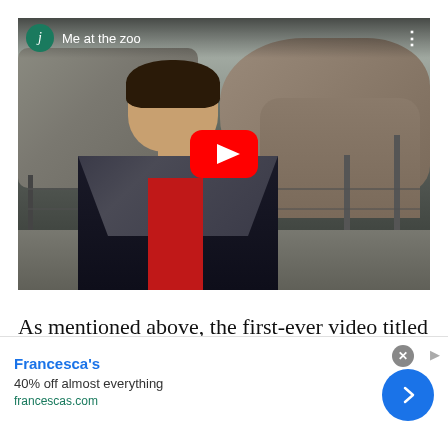[Figure (screenshot): YouTube video thumbnail showing a young man standing in front of an elephant enclosure at a zoo, with the YouTube play button overlay. Video title 'Me at the zoo' shown in the upper left with a green channel icon 'j'.]
As mentioned above, the first-ever video titled
[Figure (screenshot): Advertisement banner for Francesca's: '40% off almost everything' with website francescas.com, close button, and blue arrow button on right.]